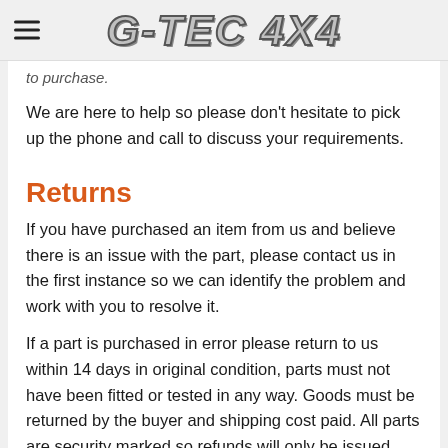G-TEC 4X4
to purchase.
We are here to help so please don’t hesitate to pick up the phone and call to discuss your requirements.
Returns
If you have purchased an item from us and believe there is an issue with the part, please contact us in the first instance so we can identify the problem and work with you to resolve it.
If a part is purchased in error please return to us within 14 days in original condition, parts must not have been fitted or tested in any way. Goods must be returned by the buyer and shipping cost paid. All parts are security marked so refunds will only be issued once the item has been received and originality confirmed. A refund of the purchase price less postage will be refunded by the same method as the payment